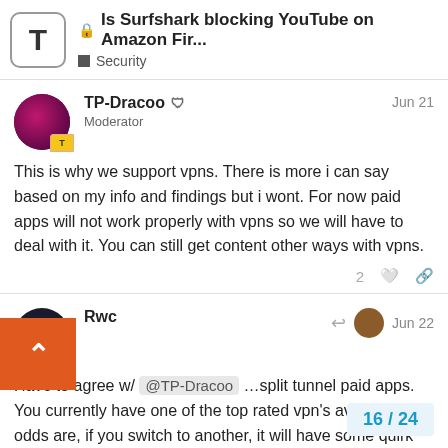Is Surfshark blocking YouTube on Amazon Fir... | Security
TP-Dracoo  Moderator  Jun 21
This is why we support vpns. There is more i can say based on my info and findings but i wont. For now paid apps will not work properly with vpns so we will have to deal with it. You can still get content other ways with vpns.
Rwc  Jun 22
Have to agree w/ @TP-Dracoo ...split tunnel paid apps. You currently have one of the top rated vpn's available, and odds are, if you switch to another, it will have some quirk also. I've found the best solution is to find a work-around available (also, I like the challenge)! jmo...